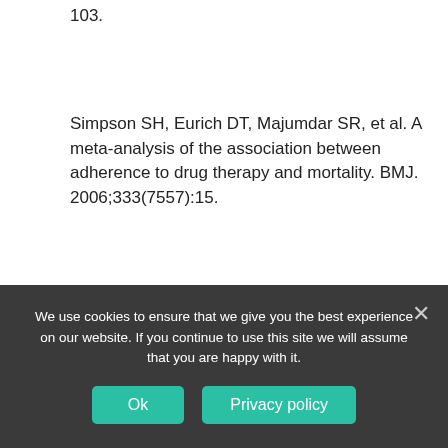103.
Simpson SH, Eurich DT, Majumdar SR, et al. A meta-analysis of the association between adherence to drug therapy and mortality. BMJ. 2006;333(7557):15.
Steiner JF, Prochazka AV. The assessment of refill compliance using pharmacy records: methods, validity, and applications. J Clin Epidemiol. 1997;50(1):105–116.
Tsilimingras D, Bates DW. Addressing
We use cookies to ensure that we give you the best experience on our website. If you continue to use this site we will assume that you are happy with it.